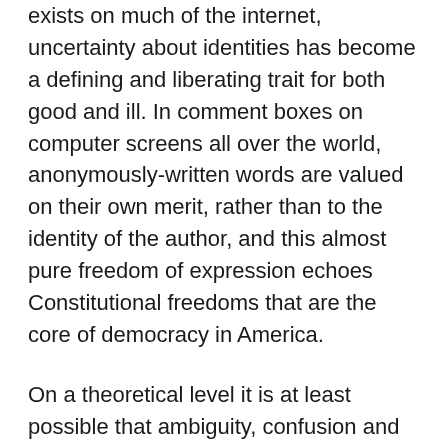exists on much of the internet, uncertainty about identities has become a defining and liberating trait for both good and ill. In comment boxes on computer screens all over the world, anonymously-written words are valued on their own merit, rather than to the identity of the author, and this almost pure freedom of expression echoes Constitutional freedoms that are the core of democracy in America.
On a theoretical level it is at least possible that ambiguity, confusion and even outright fraud on the part of a blog fiction author may become a useful craft technique specifically effective in and relevant to blog fiction. But I don't think that will be the case.
The right to post anonymously or to adopt an